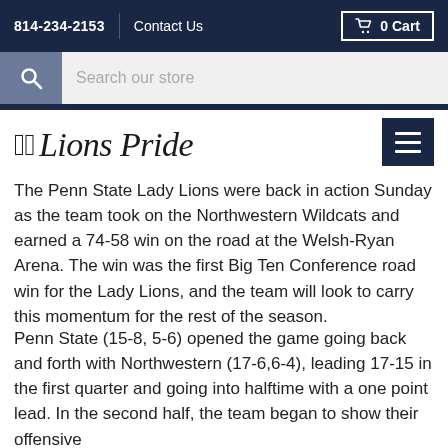814-234-2153  Contact Us  0 Cart
Lions Pride
The Penn State Lady Lions were back in action Sunday as the team took on the Northwestern Wildcats and earned a 74-58 win on the road at the Welsh-Ryan Arena. The win was the first Big Ten Conference road win for the Lady Lions, and the team will look to carry this momentum for the rest of the season.
Penn State (15-8, 5-6) opened the game going back and forth with Northwestern (17-6,6-4), leading 17-15 in the first quarter and going into halftime with a one point lead. In the second half, the team began to show their offensive